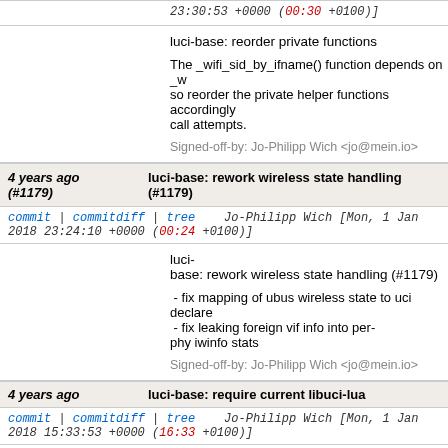23:30:53 +0000 (00:30 +0100)]
luci-base: reorder private functions

The _wifi_sid_by_ifname() function depends on _w so reorder the private helper functions accordingly call attempts.

Signed-off-by: Jo-Philipp Wich <jo@mein.io>
4 years ago (#1179)
luci-base: rework wireless state handling (#1179)
commit | commitdiff | tree   Jo-Philipp Wich [Mon, 1 Jan 2018 23:24:10 +0000 (00:24 +0100)]
luci-
base: rework wireless state handling (#1179)

 - fix mapping of ubus wireless state to uci declare
 - fix leaking foreign vif info into per-
phy iwinfo stats

Signed-off-by: Jo-Philipp Wich <jo@mein.io>
4 years ago
luci-base: require current libuci-lua
commit | commitdiff | tree   Jo-Philipp Wich [Mon, 1 Jan 2018 15:33:53 +0000 (16:33 +0100)]
luci-base: require current libuci-lua